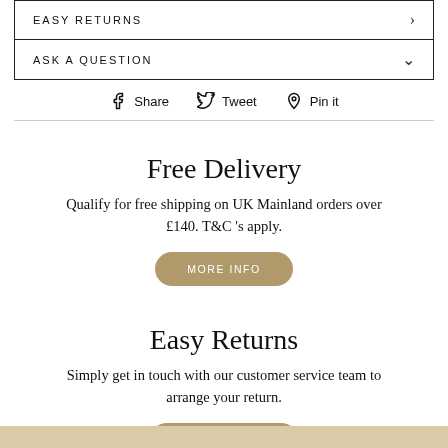EASY RETURNS
ASK A QUESTION
Share  Tweet  Pin it
Free Delivery
Qualify for free shipping on UK Mainland orders over £140. T&C 's apply.
MORE INFO
Easy Returns
Simply get in touch with our customer service team to arrange your return.
CONTACT US